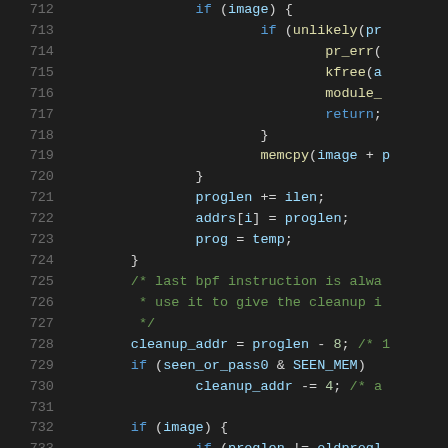[Figure (screenshot): Source code listing lines 712-733, C kernel code with syntax highlighting on dark background. Shows code for BPF image handling including memcpy, proglen, addrs, cleanup_addr operations.]